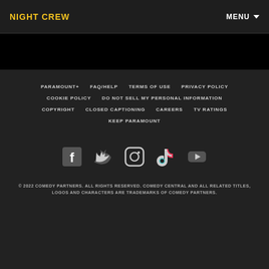NIGHT CREW | MENU
PARAMOUNT+
FAQ/HELP
TERMS OF USE
PRIVACY POLICY
COOKIE POLICY
DO NOT SELL MY PERSONAL INFORMATION
COPYRIGHT
CLOSED CAPTIONING
CAREERS
TV RATINGS
KEEP PARAMOUNT
[Figure (illustration): Social media icons: Facebook, Twitter, Instagram, TikTok, YouTube]
© 2022 COMEDY PARTNERS. ALL RIGHTS RESERVED. COMEDY CENTRAL AND ALL RELATED TITLES, LOGOS AND CHARACTERS ARE TRADEMARKS OF COMEDY PARTNERS.